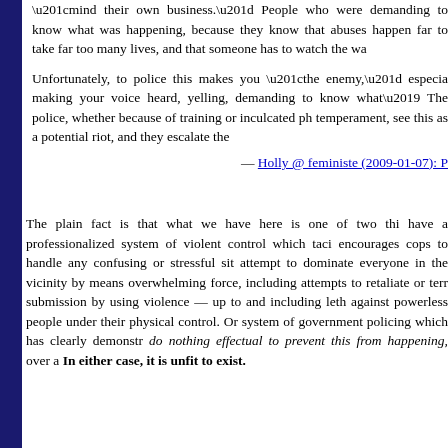“mind their own business.” People who were demanding to know what was happening, because they know that abuses happen far too often, take far too many lives, and that someone has to watch the wa…
Unfortunately, to police this makes you “the enemy,” especially if making your voice heard, yelling, demanding to know what’s going on. The police, whether because of training or inculcated ph… temperament, see this as a potential riot, and they escalate the…
— Holly @ feministe (2009-01-07): P…
The plain fact is that what we have here is one of two thi… have a professionalized system of violent control which taci… encourages cops to handle any confusing or stressful sit… attempt to dominate everyone in the vicinity by means… overwhelming force, including attempts to retaliate or terr… submission by using violence — up to and including leth… against powerless people under their physical control. Or… system of government policing which has clearly demonstr… do nothing effectual to prevent this from happening, over a… In either case, it is unfit to exist.